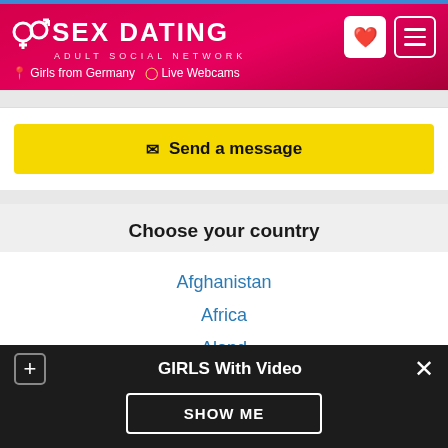SEX DATING ADULT SOCIAL NETWORK — Girls from Germany | Live Webcams
✉ Send a message
Choose your country
Afghanistan
Africa
Aland
Albania
Algeria
GIRLS With Video
SHOW ME